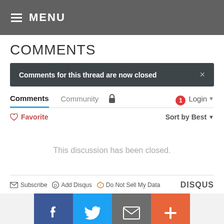MENU
COMMENTS
Comments for this thread are now closed
Comments  Community  Login
Favorite  Sort by Best
This discussion has been closed.
Subscribe  Add Disqus  Do Not Sell My Data  DISQUS
[Figure (screenshot): Social share buttons: Facebook, Twitter, Email, More (plus icon)]